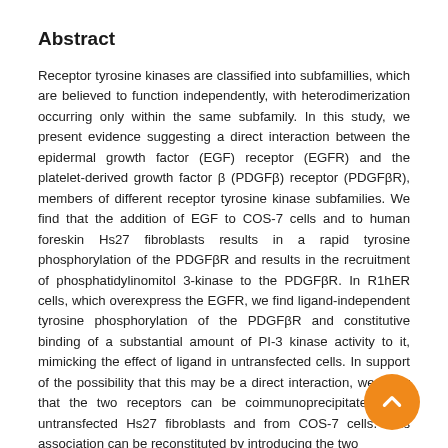Abstract
Receptor tyrosine kinases are classified into subfamillies, which are believed to function independently, with heterodimerization occurring only within the same subfamily. In this study, we present evidence suggesting a direct interaction between the epidermal growth factor (EGF) receptor (EGFR) and the platelet-derived growth factor β (PDGFβ) receptor (PDGFβR), members of different receptor tyrosine kinase subfamilies. We find that the addition of EGF to COS-7 cells and to human foreskin Hs27 fibroblasts results in a rapid tyrosine phosphorylation of the PDGFβR and results in the recruitment of phosphatidylinomitol 3-kinase to the PDGFβR. In R1hER cells, which overexpress the EGFR, we find ligand-independent tyrosine phosphorylation of the PDGFβR and constitutive binding of a substantial amount of PI-3 kinase activity to it, mimicking the effect of ligand in untransfected cells. In support of the possibility that this may be a direct interaction, we show that the two receptors can be coimmunoprecipitated from untransfected Hs27 fibroblasts and from COS-7 cells. This association can be reconstituted by introducing the two